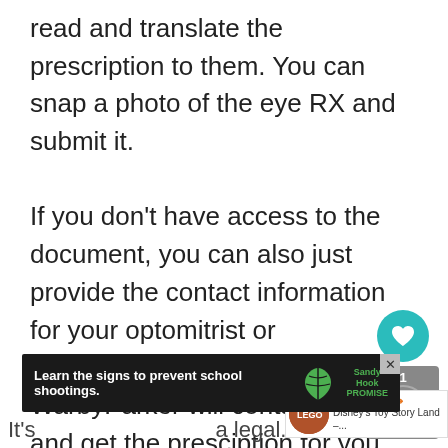read and translate the prescription to them. You can snap a photo of the eye RX and submit it.

If you don't have access to the document, you can also just provide the contact information for your optomitrist or opthamologist (eye doctor) and WarbyParker will contact them and get the presciption for you.
[Figure (screenshot): UI overlay with heart (like) button in teal and a share button with count of 1]
[Figure (screenshot): What's Next widget showing Disney's Toy Story Land article thumbnail]
[Figure (screenshot): Advertisement banner: Learn the signs to prevent school shootings. Sandy Hook Promise logo with tree graphic.]
It's... a legal.